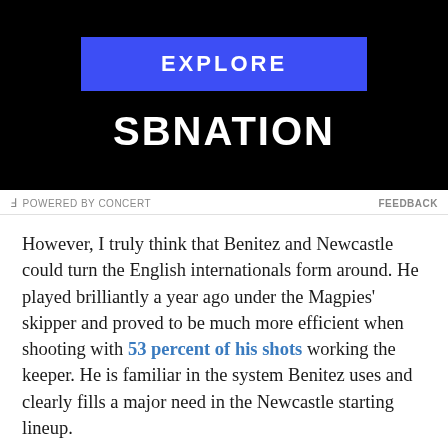[Figure (other): SBNation advertisement banner with black background, blue EXPLORE button, and SBNATION logo in white]
POWERED BY CONCERT    FEEDBACK
However, I truly think that Benitez and Newcastle could turn the English internationals form around. He played brilliantly a year ago under the Magpies' skipper and proved to be much more efficient when shooting with 53 percent of his shots working the keeper. He is familiar in the system Benitez uses and clearly fills a major need in the Newcastle starting lineup.
Despite his recent poor form at Palace, I think bringing back Townsend would be an excellent move for